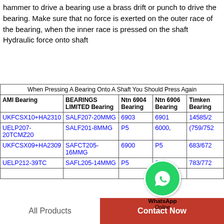hammer to drive a bearing use a brass drift or punch to drive the bearing. Make sure that no force is exerted on the outer race of the bearing, when the inner race is pressed on the shaft Hydraulic force onto shaft
| AMI Bearing | BEARINGS LIMITED Bearing | Ntn 6904 Bearing | Ntn 6906 Bearing | Timken Bearing |
| --- | --- | --- | --- | --- |
| UKFCSX10+HA2310 | SALF207-20MMG | 6903 | 6901 | 14585/2 |
| UELP207-20TCMZ20 | SALF201-8MMG | P5 | 6000, | (759/752 |
| UKFCSX09+HA2309 | SAFCT205-16MMG | 6900 | P5 | 683/672 |
| UELP212-39TC | SAFL205-14MMG | P5 | 698 | 783/772 |
[Figure (other): WhatsApp Online contact bubble overlay]
All Products
Contact Now